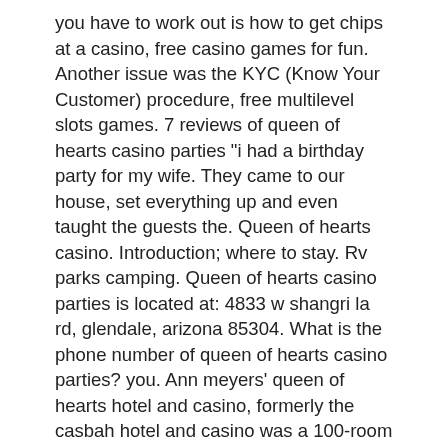you have to work out is how to get chips at a casino, free casino games for fun. Another issue was the KYC (Know Your Customer) procedure, free multilevel slots games. 7 reviews of queen of hearts casino parties &quot;i had a birthday party for my wife. They came to our house, set everything up and even taught the guests the. Queen of hearts casino. Introduction; where to stay. Rv parks camping. Queen of hearts casino parties is located at: 4833 w shangri la rd, glendale, arizona 85304. What is the phone number of queen of hearts casino parties? you. Ann meyers' queen of hearts hotel and casino, formerly the casbah hotel and casino was a 100-room hotel and casino formerly located at 19 east lewis avenue. Queen of hearts casino parties. Uploads · 0:47. Queen of hearts casino parties. Queen of hearts by novomatic is based on a fairy tale romance theme. The wild hearts and cupids are here